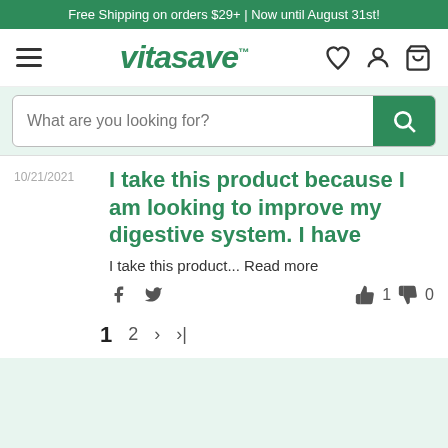Free Shipping on orders $29+ | Now until August 31st!
[Figure (logo): Vitasave logo with hamburger menu and nav icons (heart, user, cart)]
[Figure (screenshot): Search bar with placeholder 'What are you looking for?' and green search button]
10/21/2021
I take this product because I am looking to improve my digestive system. I have
I take this product... Read more
Social share icons (Facebook, Twitter), thumbs up: 1, thumbs down: 0
1  2  >  >|